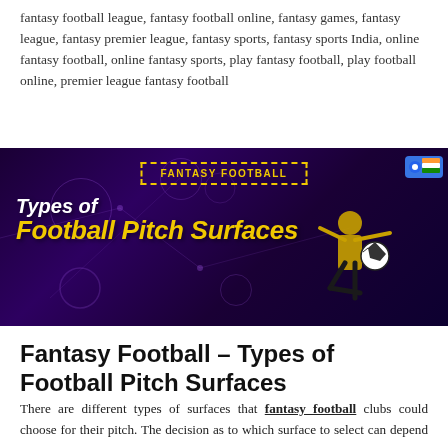fantasy football league, fantasy football online, fantasy games, fantasy league, fantasy premier league, fantasy sports, fantasy sports India, online fantasy football, online fantasy sports, play fantasy football, play football online, premier league fantasy football
[Figure (illustration): Banner image with dark purple background showing a soccer player kicking a ball, with title 'Types of Football Pitch Surfaces' in white and yellow italic text, and 'FANTASY FOOTBALL' label in a dashed yellow border box at the top center.]
Fantasy Football – Types of Football Pitch Surfaces
There are different types of surfaces that fantasy football clubs could choose for their pitch. The decision as to which surface to select can depend on the level of play, performance requirements...